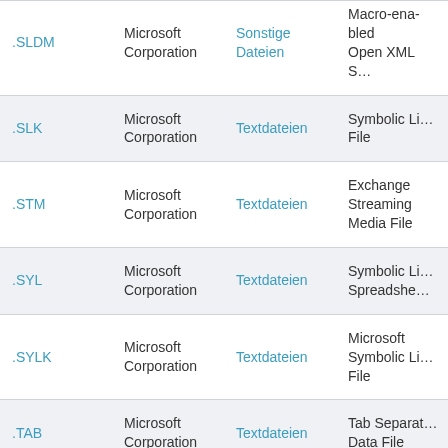| Extension | Vendor | Category | Description |
| --- | --- | --- | --- |
| .SLDM | Microsoft Corporation | Sonstige Dateien | Macro-enabled Open XML S... |
| .SLK | Microsoft Corporation | Textdateien | Symbolic Li... File |
| .STM | Microsoft Corporation | Textdateien | Exchange Streaming Media File |
| .SYL | Microsoft Corporation | Textdateien | Symbolic Li... Spreadshe... |
| .SYLK | Microsoft Corporation | Textdateien | Microsoft Symbolic Li... File |
| .TAB | Microsoft Corporation | Textdateien | Tab Separat... Data File |
| .THMX | Microsoft Corporation | Einstellungsdateien | Microsoft Office 2007 Theme File |